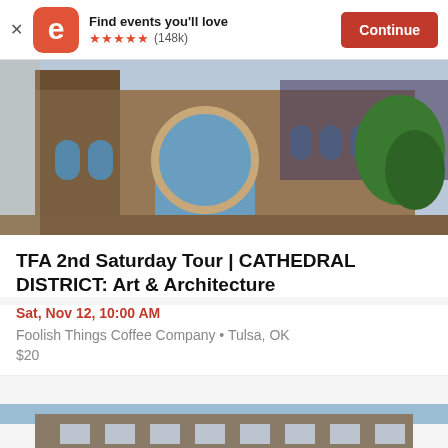Find events you'll love ★★★★★ (148k) Continue
[Figure (photo): Gothic-style brick church building with arched windows and blue stained glass, green tree visible on right side, taken on a sunny day]
TFA 2nd Saturday Tour | CATHEDRAL DISTRICT: Art & Architecture
Sat, Nov 12, 10:00 AM
Foolish Things Coffee Company • Tulsa, OK
$20
[Figure (photo): Bottom portion of a building exterior, partial view cropped at bottom of page]